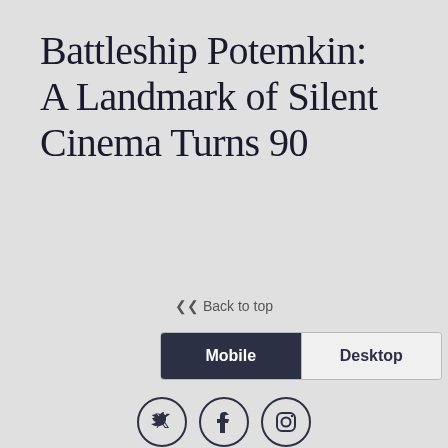Battleship Potemkin: A Landmark of Silent Cinema Turns 90
↑ Back to top
[Figure (screenshot): Mobile/Desktop toggle bar with Mobile selected (dark background) and Desktop unselected]
[Figure (infographic): Three social media icons in circles: Twitter, Facebook, Instagram]